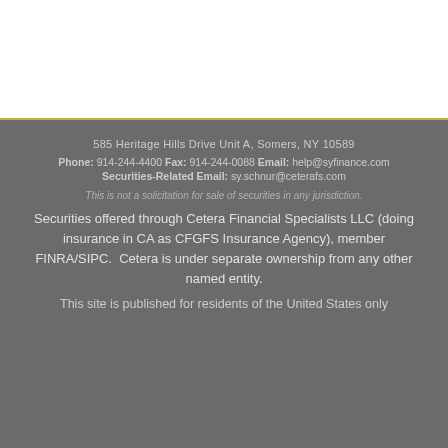585 Heritage Hills Drive Unit A, Somers, NY 10589
Phone: 914-244-4400 Fax: 914-244-0088 Email: help@syfinance.com
Securities-Related Email: sy.schnur@ceterafs.com
This is not a solicitation for sale of securities in any jurisdiction.
Securities offered through Cetera Financial Specialists LLC (doing insurance in CA as CFGFS Insurance Agency), member FINRA/SIPC.  Cetera is under separate ownership from any other named entity.
This site is published for residents of the United States only